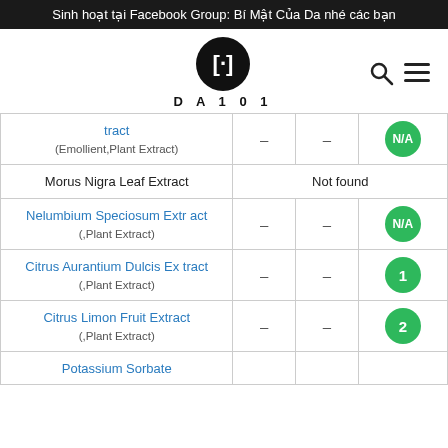Sinh hoạt tại Facebook Group: Bí Mật Của Da nhé các bạn
[Figure (logo): DA101 logo - black circle with stylized bracket symbol, text DA101 below]
| Ingredient |  |  | Rating |
| --- | --- | --- | --- |
| tract (Emollient, Plant Extract) | – | – | N/A |
| Morus Nigra Leaf Extract | Not found |  |  |
| Nelumbium Speciosum Extract (,Plant Extract) | – | – | N/A |
| Citrus Aurantium Dulcis Extract (,Plant Extract) | – | – | 1 |
| Citrus Limon Fruit Extract (,Plant Extract) | – | – | 2 |
| Potassium Sorbate |  |  |  |